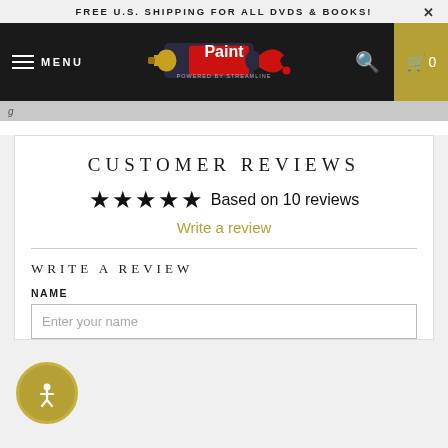FREE U.S. SHIPPING FOR ALL DVDS & BOOKS!
[Figure (logo): PaintTube logo with paint tube graphic, 'Powered by Streamline' tagline, navigation bar with MENU, search icon, and cart icon showing 0 items]
CUSTOMER REVIEWS
★★★★★ Based on 10 reviews
Write a review
WRITE A REVIEW
NAME
Enter your name